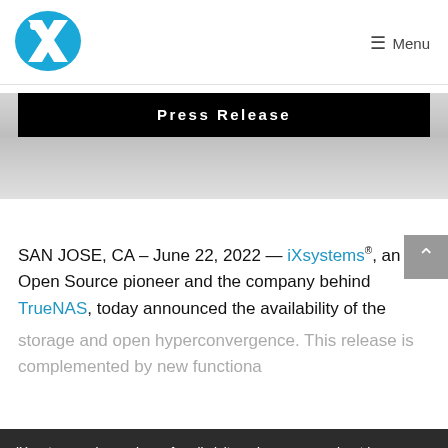iX logo | ≡ Menu
Press Release
SAN JOSE, CA – June 22, 2022 — iXsystems®, an Open Source pioneer and the company behind TrueNAS, today announced the availability of the
storage and open hyperconvergence. This release is complemented by new functiona
iXsystems values privacy for all visitors. Learn more about how we use cookies and how you can control them by reading our Privacy Policy.